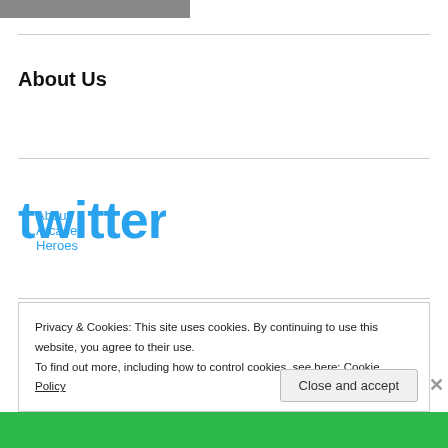[Figure (photo): Partial photo strip at top of page, grayscale image cropped]
About Us
About Arcade Heroes
[Figure (logo): Twitter logo in blue]
Follow us on Twitter!
Privacy & Cookies: This site uses cookies. By continuing to use this website, you agree to their use.
To find out more, including how to control cookies, see here: Cookie Policy
Close and accept